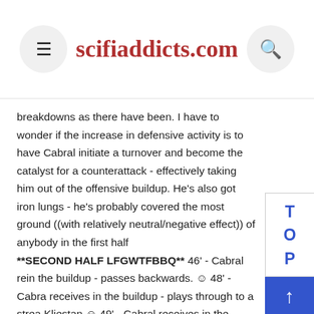scifiaddicts.com
breakdowns as there have been. I have to wonder if the increase in defensive activity is to have Cabral initiate a turnover and become the catalyst for a counterattack - effectively taking him out of the offensive buildup. He's also got iron lungs - he's probably covered the most ground ((with relatively neutral/negative effect)) of anybody in the first half **SECOND HALF LFGWTFBBQ** 46' - Cabral receives in the buildup - passes backwards. 😊 48' - Cabral receives in the buildup - plays through to a streaking Kljestan 😊 49' - Cabral receives in the buildup - passes to nobody ((Chicha the closest Galaxy player)) 😢 Cabral receives a short corner and returns to Costa Costa crosses into the box 😊 55' - Cabral runs into Chichas space - Chicha checks back to receive the ball - uncertain if by design 🔲🔲 55' - Cabral backheels to